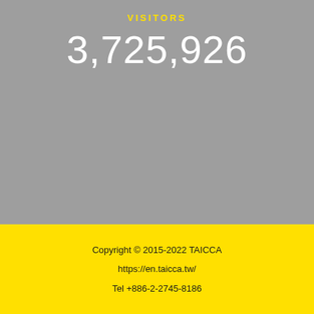VISITORS
3,725,926
Copyright © 2015-2022 TAICCA
https://en.taicca.tw/
Tel +886-2-2745-8186